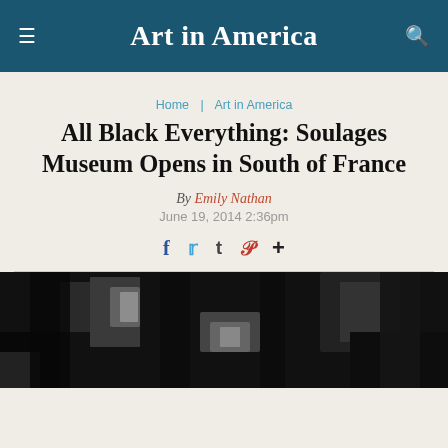Art in America
Home | Art in America
All Black Everything: Soulages Museum Opens in South of France
By Emily Nathan
June 19, 2014 2:36pm
[Figure (photo): Dark abstract painting by Soulages, mostly black with some light areas visible]